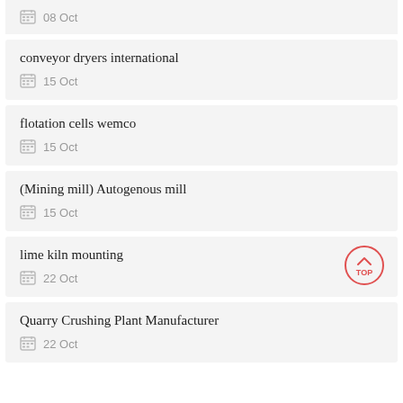08 Oct
conveyor dryers international
15 Oct
flotation cells wemco
15 Oct
(Mining mill) Autogenous mill
15 Oct
lime kiln mounting
22 Oct
Quarry Crushing Plant Manufacturer
22 Oct